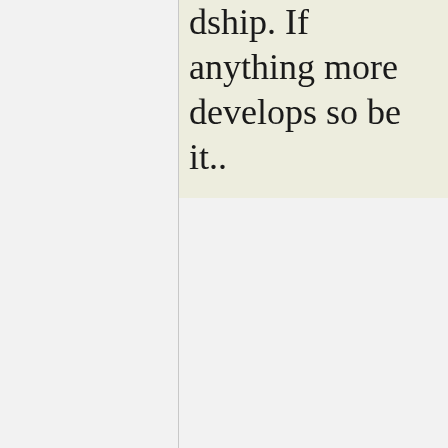dship. If anything more develops so be it..